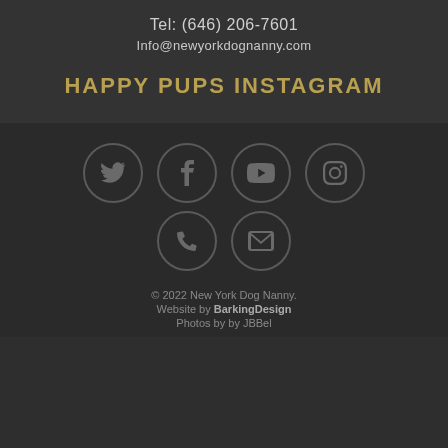Tel: (646) 206-7601
Info@newyorkdognanny.com
HAPPY PUPS INSTAGRAM
[Figure (other): Social media icon buttons in circles: Twitter, Facebook, YouTube, Instagram, Phone, Email]
© 2022 New York Dog Nanny.
Website by BarkingDesign